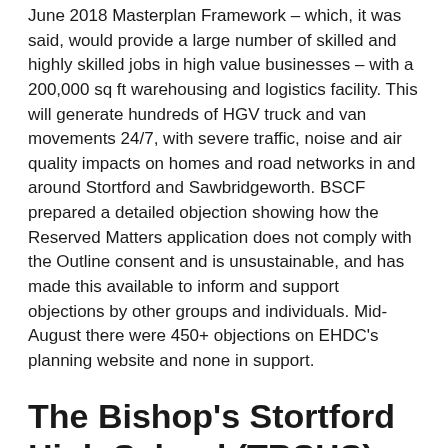June 2018 Masterplan Framework – which, it was said, would provide a large number of skilled and highly skilled jobs in high value businesses – with a 200,000 sq ft warehousing and logistics facility. This will generate hundreds of HGV truck and van movements 24/7, with severe traffic, noise and air quality impacts on homes and road networks in and around Stortford and Sawbridgeworth. BSCF prepared a detailed objection showing how the Reserved Matters application does not comply with the Outline consent and is unsustainable, and has made this available to inform and support objections by other groups and individuals. Mid-August there were 450+ objections on EHDC's planning website and none in support.
The Bishop's Stortford High School (TBSHS) – BISH6
In January 2020, TBSHS submitted an Outline Application to redevelop its existing site in London Road for 223 houses